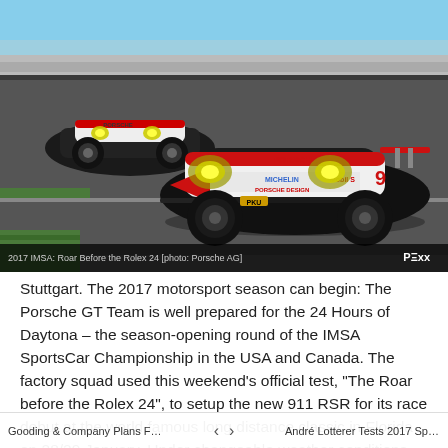[Figure (photo): Two Porsche 911 RSR race cars on track at Daytona, white with red accents, yellow headlights glowing, photo credit: Porsche AG. Caption: 2017 IMSA: Roar Before the Rolex 24 [photo: Porsche AG]. Logo: PEXX]
Stuttgart. The 2017 motorsport season can begin: The Porsche GT Team is well prepared for the 24 Hours of Daytona – the season-opening round of the IMSA SportsCar Championship in the USA and Canada. The factory squad used this weekend's official test, "The Roar before the Rolex 24", to setup the new 911 RSR for its race debut at the world famous long distance classic in Florida on 28/29 January. Under changeable weather conditions, the 911 RSR racers with the starting numbers 911
Gooding & Company Plans Four ...    <    >    André Lotterer Tests 2017 Spec ...